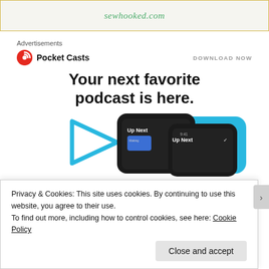[Figure (illustration): Top banner ad showing sewhooked.com in decorative italic green text on a light background with yellow border and decorative floral elements]
Advertisements
[Figure (logo): Pocket Casts logo: red circle with two concentric arcs and a dot, followed by bold text 'Pocket Casts']
DOWNLOAD NOW
Your next favorite podcast is here.
[Figure (screenshot): Illustration of two smartphones showing the Pocket Casts app 'Up Next' screen, with blue triangular play icon and rounded blue rectangle in background]
Privacy & Cookies: This site uses cookies. By continuing to use this website, you agree to their use.
To find out more, including how to control cookies, see here: Cookie Policy